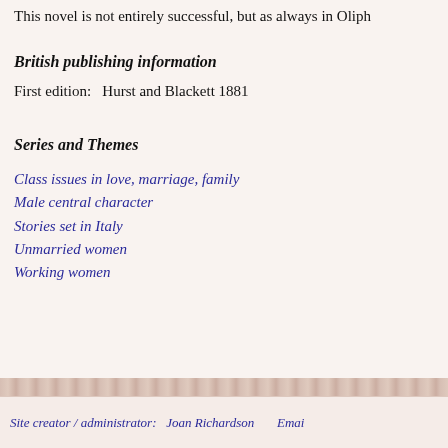This novel is not entirely successful, but as always in Oliph
British publishing information
First edition:   Hurst and Blackett 1881
Series and Themes
Class issues in love, marriage, family
Male central character
Stories set in Italy
Unmarried women
Working women
Site creator / administrator:   Joan Richardson      Emai